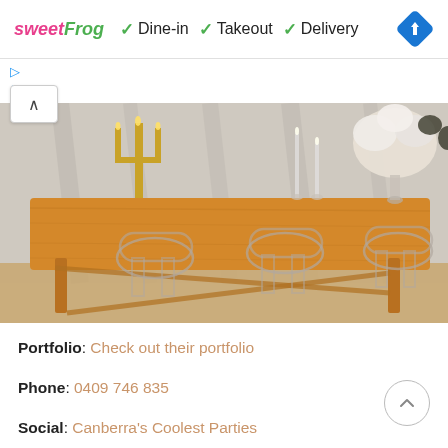[Figure (screenshot): Ad banner for sweetFrog showing Dine-in, Takeout, Delivery options with checkmarks and navigation diamond icon]
[Figure (photo): Elegant event table setting with a long wooden table, clear acrylic ghost chairs, gold candelabra, white floral centerpiece, and sheer curtain backdrop]
Portfolio: Check out their portfolio
Phone: 0409 746 835
Social: Canberra's Coolest Parties